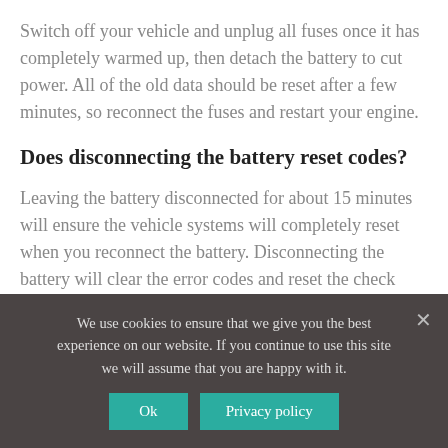Switch off your vehicle and unplug all fuses once it has completely warmed up, then detach the battery to cut power. All of the old data should be reset after a few minutes, so reconnect the fuses and restart your engine.
Does disconnecting the battery reset codes?
Leaving the battery disconnected for about 15 minutes will ensure the vehicle systems will completely reset when you reconnect the battery. Disconnecting the battery will clear the error codes and reset the check engine light.
Should a car battery be disconnected when not in use?
We use cookies to ensure that we give you the best experience on our website. If you continue to use this site we will assume that you are happy with it.